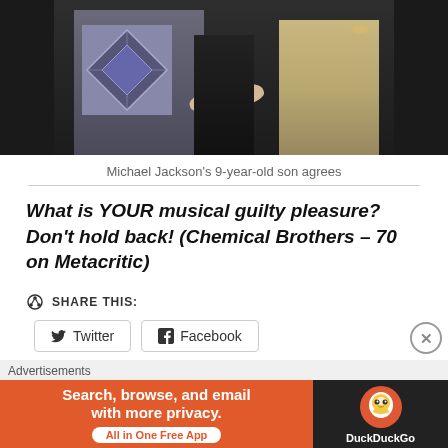[Figure (photo): Partial photo of people, showing lower bodies and hands against a dark background. One person wears an argyle sweater/vest.]
Michael Jackson's 9-year-old son agrees
What is YOUR musical guilty pleasure? Don't hold back! (Chemical Brothers – 70 on Metacritic)
SHARE THIS: Twitter Facebook
LIKE THIS
Advertisements Search, browse, and email with more privacy. All in One Free App DuckDuckGo